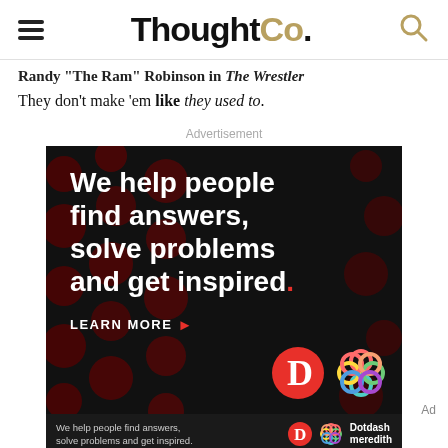ThoughtCo.
Randy "The Ram" Robinson in The Wrestler
They don't make 'em like they used to.
Advertisement
[Figure (photo): Dotdash Meredith advertisement: 'We help people find answers, solve problems and get inspired.' with LEARN MORE button, D logo and colorful knot logo. Bottom bar repeats tagline with Dotdash meredith branding.]